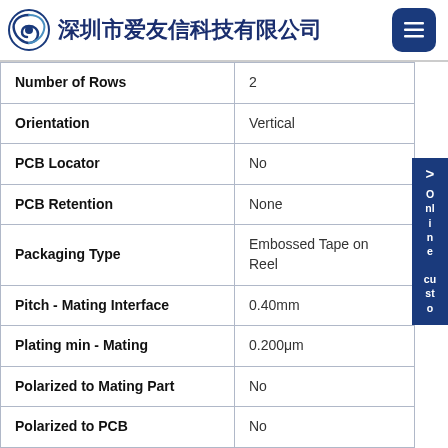深圳市爱友信科技有限公司
| Property | Value |
| --- | --- |
| Number of Rows | 2 |
| Orientation | Vertical |
| PCB Locator | No |
| PCB Retention | None |
| Packaging Type | Embossed Tape on Reel |
| Pitch - Mating Interface | 0.40mm |
| Plating min - Mating | 0.200μm |
| Polarized to Mating Part | No |
| Polarized to PCB | No |
| Surface Mount Compatible | Yes |